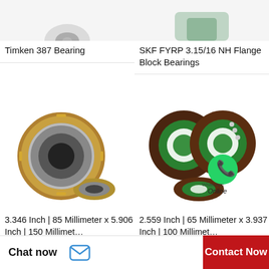[Figure (photo): Partial top view of Timken 387 Bearing (cropped, only bottom portion visible), white background]
Timken 387 Bearing
[Figure (photo): Partial top view of SKF FYRP 3.15/16 NH Flange Block Bearings (cropped, only bottom portion visible), white background]
SKF FYRP 3.15/16 NH Flange Block Bearings
[Figure (photo): Gold/silver cylindrical roller bearing, two pieces shown, white background]
3.346 Inch | 85 Millimeter x 5.906 Inch | 150 Millimet…
[Figure (photo): Dark brown bearings with green center rings, WhatsApp logo overlay, text 'Online', white background]
2.559 Inch | 65 Millimeter x 3.937 Inch | 100 Millimet…
[Figure (screenshot): Bottom navigation bar with 'Chat now' text and chat icon on white, 'Contact Now' button on red background]